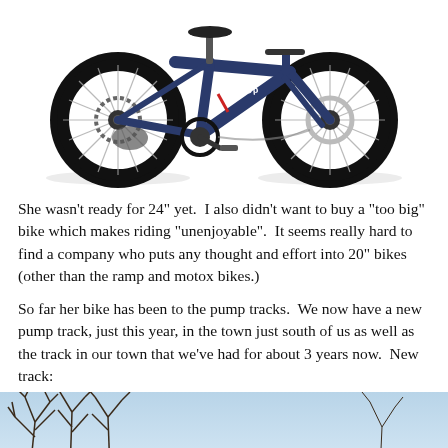[Figure (photo): A dark navy blue Co-op branded children's mountain bike with wide/fat tires, disc brakes, and multiple gears shown on a white background.]
She wasn't ready for 24" yet.  I also didn't want to buy a "too big" bike which makes riding "unenjoyable".  It seems really hard to find a company who puts any thought and effort into 20" bikes (other than the ramp and motox bikes.)
So far her bike has been to the pump tracks.  We now have a new pump track, just this year, in the town just south of us as well as the track in our town that we've had for about 3 years now.  New track:
[Figure (photo): Partial photo showing bare tree branches against a light blue sky, appearing to be the beginning of an outdoor pump track photo.]